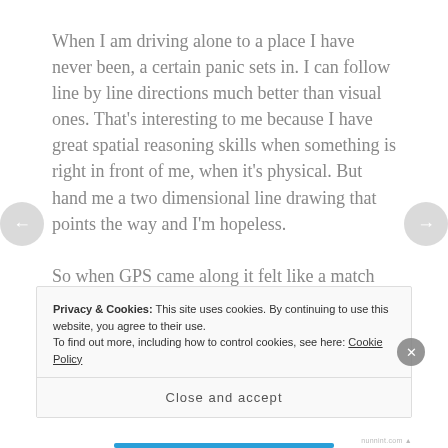When I am driving alone to a place I have never been, a certain panic sets in. I can follow line by line directions much better than visual ones. That's interesting to me because I have great spatial reasoning skills when something is right in front of me, when it's physical. But hand me a two dimensional line drawing that points the way and I'm hopeless.

So when GPS came along it felt like a match made in heaven. Until it wasn't. Same two dimensional map,
Privacy & Cookies: This site uses cookies. By continuing to use this website, you agree to their use.
To find out more, including how to control cookies, see here: Cookie Policy
Close and accept